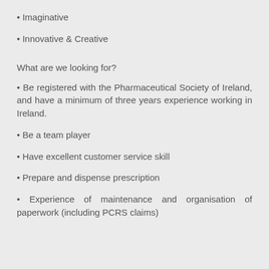Imaginative
Innovative & Creative
What are we looking for?
Be registered with the Pharmaceutical Society of Ireland, and have a minimum of three years experience working in Ireland.
Be a team player
Have excellent customer service skill
Prepare and dispense prescription
Experience of maintenance and organisation of paperwork (including PCRS claims)